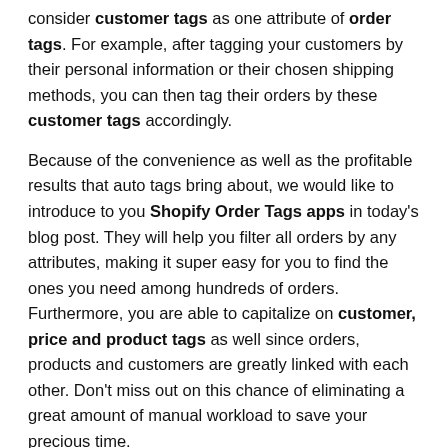consider customer tags as one attribute of order tags. For example, after tagging your customers by their personal information or their chosen shipping methods, you can then tag their orders by these customer tags accordingly.
Because of the convenience as well as the profitable results that auto tags bring about, we would like to introduce to you Shopify Order Tags apps in today's blog post. They will help you filter all orders by any attributes, making it super easy for you to find the ones you need among hundreds of orders. Furthermore, you are able to capitalize on customer, price and product tags as well since orders, products and customers are greatly linked with each other. Don't miss out on this chance of eliminating a great amount of manual workload to save your precious time.
Now it's time to take a closer look at some of the best Customer Tags apps for Shopify.